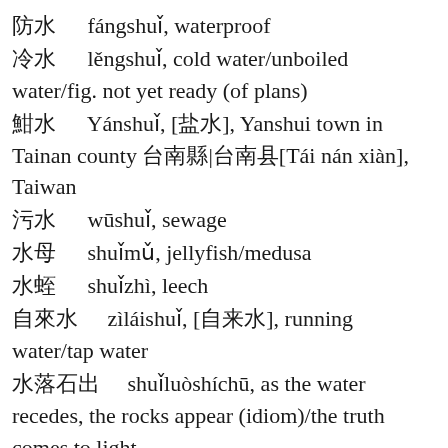防水 fángshuǐ, waterproof
冷水 lěngshuǐ, cold water/unboiled water/fig. not yet ready (of plans)
鹽水 Yánshuǐ, [盐水], Yanshui town in Tainan county 台南縣|台南县[Tái nán xiàn], Taiwan
污水 wūshuǐ, sewage
水母 shuǐmǔ, jellyfish/medusa
水蛭 shuǐzhì, leech
自來水 zìláishuǐ, [自来水], running water/tap water
水落石出 shuǐluòshíchū, as the water recedes, the rocks appear (idiom)/the truth comes to light
水龍頭 shuǐlóngtóu, [水龙头], faucet/tap
聖水 shèngshuǐ, [圣水], holy water
水獺 shuǐtǎ, [水獭], otter
汗水 hànshuǐ, sweat/perspiration
水庫
水库 shuǐkù, [水庫], reservoir/CL:座[zuò]